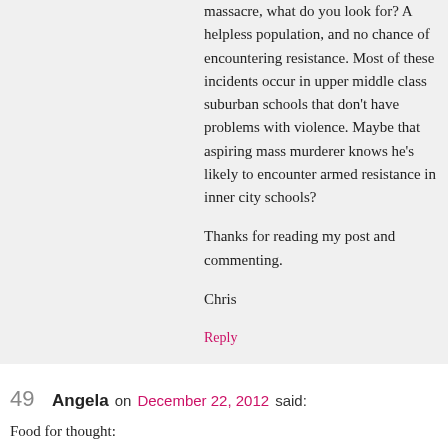massacre, what do you look for? A helpless population, and no chance of encountering resistance. Most of these incidents occur in upper middle class suburban schools that don't have problems with violence. Maybe that aspiring mass murderer knows he's likely to encounter armed resistance in inner city schools?
Thanks for reading my post and commenting.
Chris
Reply
49  Angela on December 22, 2012 said:
Food for thought:
How about arming our FIREFIGHTERS? A lot of them are veterans, they are trained professionals and fire stations are numerous when compared to police s
Reply
50  Angela on December 26, 2012 said:
I noticed you didn't respond to this………..In light of what happened in New York on Christmas Eve, this is sounding like a better idea.
Firefighters are often the first responders for any type of emergency